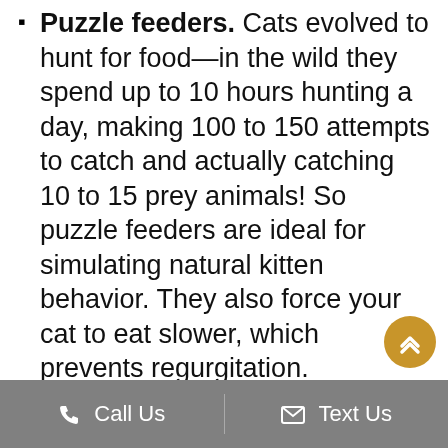Puzzle feeders. Cats evolved to hunt for food—in the wild they spend up to 10 hours hunting a day, making 100 to 150 attempts to catch and actually catching 10 to 15 prey animals! So puzzle feeders are ideal for simulating natural kitten behavior. They also force your cat to eat slower, which prevents regurgitation.
String and fishing pole toys. Even well-fed cats have a primal need to chase prey. Toys with fur or feathers at the end of a string are ideal. Move the string along the ground slowly away from kitty, like it is a mouse to simulate the thrill of the chase.
Hideaway beds. Cats need places to go...
Call Us   Text Us